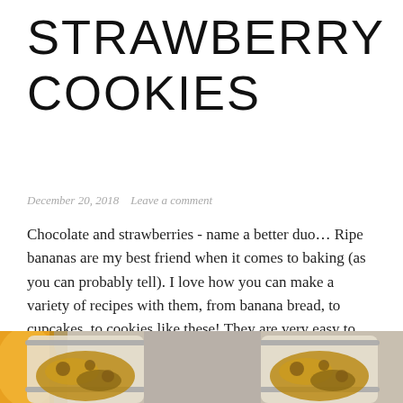STRAWBERRY COOKIES
December 20, 2018   Leave a comment
Chocolate and strawberries - name a better duo… Ripe bananas are my best friend when it comes to baking (as you can probably tell). I love how you can make a variety of recipes with them, from banana bread, to cupcakes, to cookies like these! They are very easy to make and you can add … Continue reading
[Figure (photo): Photo of granola or cookies in glass jars with metal clasps, shot from above on a grey surface, with a yellow/orange element visible on the left]